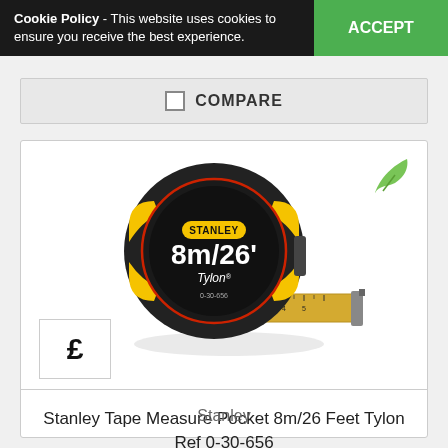Cookie Policy - This website uses cookies to ensure you receive the best experience. ACCEPT
COMPARE
[Figure (photo): Stanley Tape Measure 8m/26 feet Tylon product photo showing black and yellow tape measure with extended blade. Price box showing £ symbol in bottom left. Green leaf eco icon top right.]
Stanley Tape Measure Pocket 8m/26 Feet Tylon Ref 0-30-656
Stanley